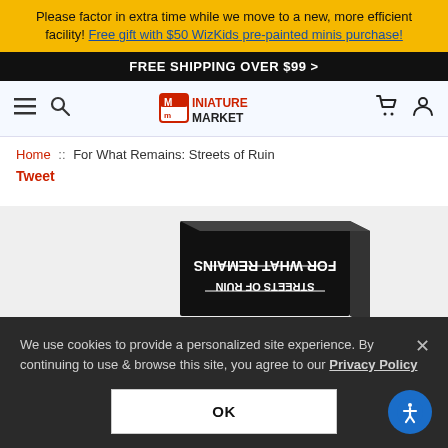Please factor in extra time while we move to a new, more efficient facility! Free gift with $50 WizKids pre-painted minis purchase!
FREE SHIPPING OVER $99 >
Miniature Market (logo) — navigation with hamburger menu, search, cart, account icons
Home :: For What Remains: Streets of Ruin
Tweet
[Figure (photo): Product box for 'For What Remains: Streets of Ruin' board game, shown at an angle on white background, black box with white text, text appears mirrored/upside-down in the image]
We use cookies to provide a personalized site experience. By continuing to use & browse this site, you agree to our Privacy Policy
OK